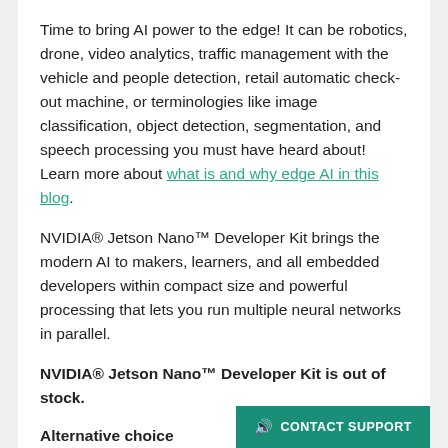Time to bring AI power to the edge! It can be robotics, drone, video analytics, traffic management with the vehicle and people detection, retail automatic check-out machine, or terminologies like image classification, object detection, segmentation, and speech processing you must have heard about! Learn more about what is and why edge AI in this blog.
NVIDIA® Jetson Nano™ Developer Kit brings the modern AI to makers, learners, and all embedded developers within compact size and powerful processing that lets you run multiple neural networks in parallel.
NVIDIA® Jetson Nano™ Developer Kit is out of stock.
Alternative choice